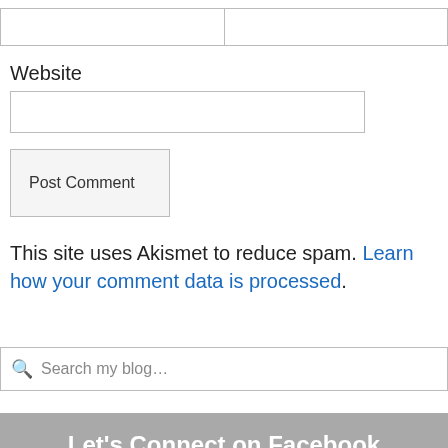[Figure (screenshot): Two side-by-side form input boxes at the top of the page]
Website
[Figure (screenshot): Website text input field]
[Figure (screenshot): Post Comment button]
This site uses Akismet to reduce spam. Learn how your comment data is processed.
[Figure (screenshot): Search my blog... search bar with magnifying glass icon]
Let's Connect on Facebook